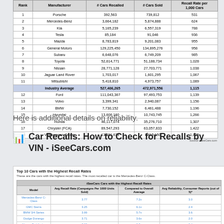| Rank | Manufacturer | # Cars Recalled | # Cars Sold | Recall Rate per 1,000 Cars |
| --- | --- | --- | --- | --- |
| 1 | Porsche | 392,563 | 739,812 | 531 |
| 2 | Mercedes-Benz | 3,664,182 | 5,874,888 | 624 |
| 3 | Kia | 5,165,239 | 6,557,319 | 788 |
| 4 | Tesla | 85,184 | 91,046 | 936 |
| 5 | Mazda | 8,783,819 | 9,201,083 | 955 |
| 6 | General Motors | 129,225,450 | 134,895,276 | 958 |
| 7 | Subaru | 6,648,076 | 6,749,209 | 985 |
| 8 | Toyota | 52,614,771 | 51,188,734 | 1,028 |
| 9 | Nissan | 28,771,128 | 27,703,771 | 1,038 |
| 10 | Jaguar Land Rover | 1,703,017 | 1,601,295 | 1,067 |
| 11 | Mitsubishi | 5,418,810 | 4,973,757 | 1,089 |
|  | Industry Average | 527,406,265 | 472,971,556 | 1,115 |
| 12 | Ford | 111,043,367 | 97,493,753 | 1,139 |
| 13 | Volvo | 3,399,341 | 2,940,087 | 1,156 |
| 14 | BMW | 7,730,152 | 6,461,488 | 1,196 |
| 15 | Hyundai | 13,606,160 | 10,743,745 | 1,266 |
| 16 | Honda | 46,117,074 | 35,276,710 | 1,307 |
| 17 | Chrysler (FCA) | 89,547,293 | 63,057,833 | 1,422 |
| 18 | Volkswagen Group | 13,381,639 | 7,415,150 | 1,805 |
Here is additional details on reliability.
Car Recalls: How to Check for Recalls by VIN - iSeeCars.com
[Figure (screenshot): Embedded preview of iSeeCars.com article showing a table titled 'Top 10 Cars with the Highest Recall Rates' with columns for Model, Avg Recall Rate, Compared to Overall Average, and Avg Reliability Consumer Reports.]